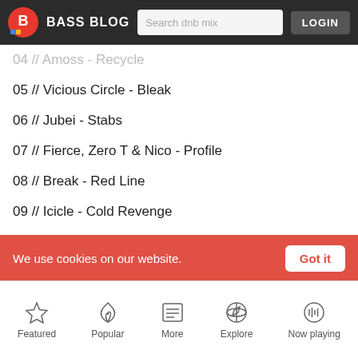BASS BLOG | Search dnb mix | LOGIN
04 // Amoss - Recycle
05 // Vicious Circle - Bleak
06 // Jubei - Stabs
07 // Fierce, Zero T & Nico - Profile
08 // Break - Red Line
09 // Icicle - Cold Revenge
10 // Ulterior Motive, Quadrant & Iris - Intuition
11 // Mindscape & Hydro - Skid Row
12 // PRTCL - Subterranean
13 // Ulterior Motive - Hey Judas (ft. DRS)
14 // Bredren - Midnight Stalker
15 // Amoss - Tinnies & Ciggies
We use cookies on our website.
Featured | Popular | More | Explore | Now playing